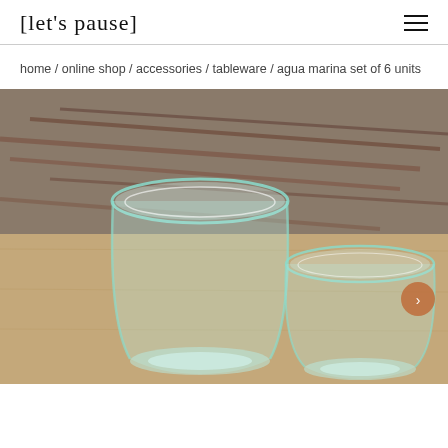[let's pause]
home / online shop / accessories / tableware / agua marina set of 6 units
[Figure (photo): Two short, round-bottomed tumbler glasses made of recycled light-green tinted glass, set on a wooden surface in front of dried reddish-brown plant branches. A navigation arrow button is visible on the right side of the image.]